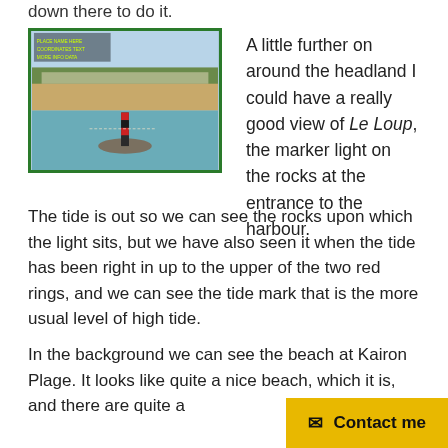down there to do it.
[Figure (photo): A lighthouse/marker light called Le Loup on rocks in the sea, with a beach and hills visible in the background. The marker has red and dark bands. The tide is out revealing the rocks beneath.]
A little further on around the headland I could have a really good view of Le Loup, the marker light on the rocks at the entrance to the harbour.
The tide is out so we can see the rocks upon which the light sits, but we have also seen it when the tide has been right in up to the upper of the two red rings, and we can see the tide mark that is the more usual level of high tide.
In the background we can see the beach at Kairon Plage. It looks like quite a nice beach, which it is, and there are quite a